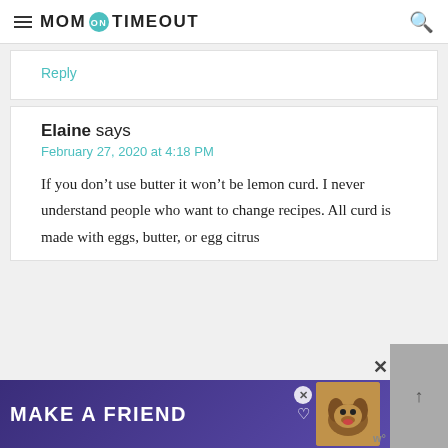MOM ON TIMEOUT
Reply
Elaine says
February 27, 2020 at 4:18 PM

If you don't use butter it won't be lemon curd. I never understand people who want to change recipes. All curd is made with eggs, butter, or egg citrus...
[Figure (other): Advertisement banner: MAKE A FRIEND with dog photo and heart icons]